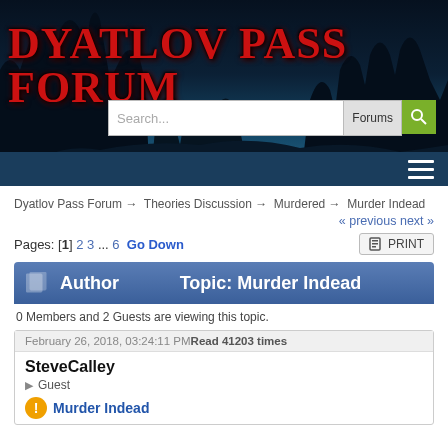[Figure (screenshot): Dark blue nighttime forest silhouette background banner for Dyatlov Pass Forum website]
DYATLOV PASS FORUM
Search... Forums | hamburger menu
Dyatlov Pass Forum → Theories Discussion → Murdered → Murder Indead
« previous next »
Pages: [1] 2 3 ... 6  Go Down   PRINT
Author   Topic: Murder Indead
0 Members and 2 Guests are viewing this topic.
February 26, 2018, 03:24:11 PM Read 41203 times
SteveCalley
▶ Guest
Murder Indead